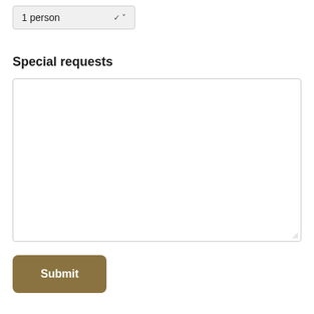[Figure (screenshot): Dropdown selector showing '1 person' with a down arrow chevron, styled with a light gray background]
Special requests
[Figure (screenshot): Large empty textarea input field for entering special requests, with a resize handle in the bottom-right corner]
[Figure (screenshot): Submit button with dark tan/olive brown background color and white bold text reading 'Submit']